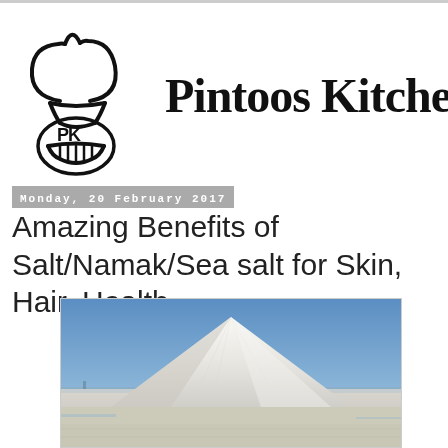[Figure (logo): Pintoos Kitchen logo with chef hat drawing and PK initials]
Pintoos Kitchen
Monday, 20 February 2017
Amazing Benefits of Salt/Namak/Sea salt for Skin, Hair, Health
[Figure (photo): A large white mound/pyramid of salt in an outdoor salt flat with blue sky in background]